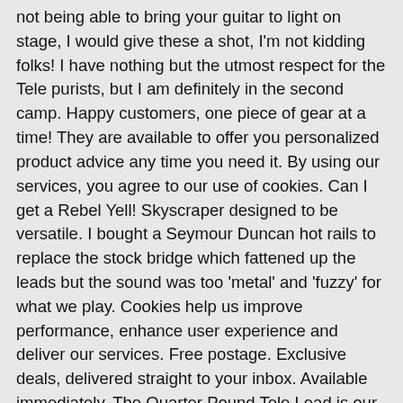not being able to bring your guitar to light on stage, I would give these a shot, I'm not kidding folks! I have nothing but the utmost respect for the Tele purists, but I am definitely in the second camp. Happy customers, one piece of gear at a time! They are available to offer you personalized product advice any time you need it. By using our services, you agree to our use of cookies. Can I get a Rebel Yell! Skyscraper designed to be versatile. I bought a Seymour Duncan hot rails to replace the stock bridge which fattened up the leads but the sound was too 'metal' and 'fuzzy' for what we play. Cookies help us improve performance, enhance user experience and deliver our services. Free postage. Exclusive deals, delivered straight to your inbox. Available immediately. The Quarter Pound Tele Lead is our highest output Tele single coil. This item: Seymour Duncan STL-1/STR-3 Quarter Pound Neck Pickup for Tele $69.00 Only 1 left in stock - order soon. How to Do a Backflip on the Trampoline? On a guitar Ibanez Prestige S2075W modern mahogany-rosewood fingerboard with zero-Floyd. Seymore Duncan has something special for your